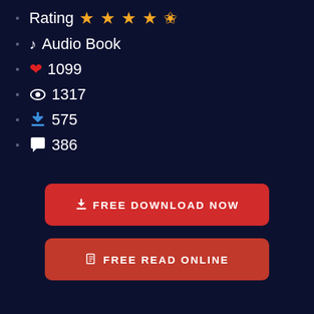Rating ★★★★½
♪ Audio Book
❤ 1099
👁 1317
⬇ 575
💬 386
FREE DOWNLOAD NOW
FREE READ ONLINE